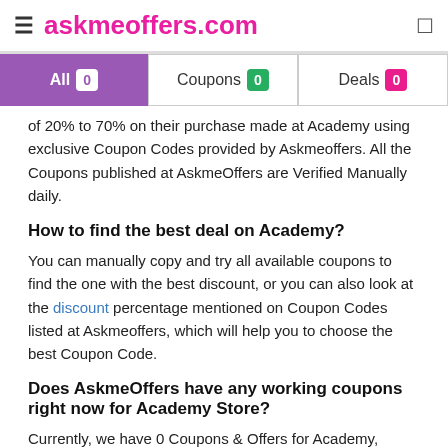≡ askmeoffers.com
[Figure (screenshot): Tab bar with All (0), Coupons (0), Deals (0) filter buttons]
of 20% to 70% on their purchase made at Academy using exclusive Coupon Codes provided by Askmeoffers. All the Coupons published at AskmeOffers are Verified Manually daily.
How to find the best deal on Academy?
You can manually copy and try all available coupons to find the one with the best discount, or you can also look at the discount percentage mentioned on Coupon Codes listed at Askmeoffers, which will help you to choose the best Coupon Code.
Does AskmeOffers have any working coupons right now for Academy Store?
Currently, we have 0 Coupons & Offers for Academy, Editorial team at AskmeOffers manually verify every coupons for Academy on daily basis to make to make sure you save maximum on every purchase made at Academy. On Average